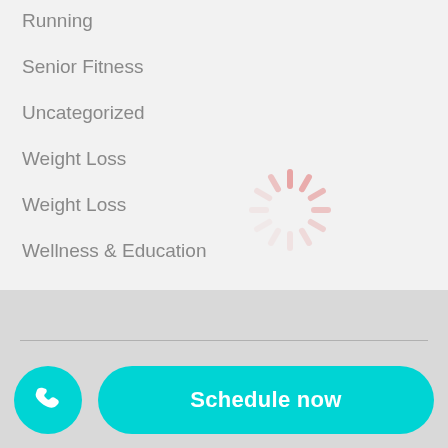Running
Senior Fitness
Uncategorized
Weight Loss
Weight Loss
Wellness & Education
yoga
[Figure (illustration): Loading spinner / activity indicator with pink/rose colored dashes arranged in a circle]
[Figure (logo): Mile High Fitness & Wellness logo with mountain silhouette]
©
Schedule now